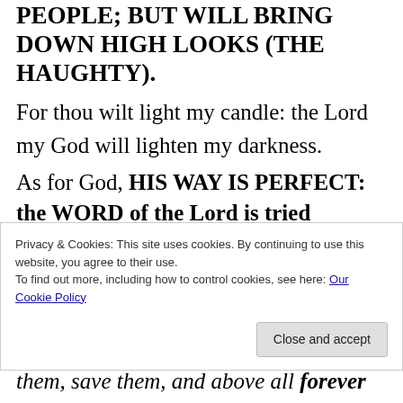PEOPLE; BUT WILL BRING DOWN HIGH LOOKS (THE HAUGHTY).
For thou wilt light my candle: the Lord my God will lighten my darkness.
As for God, HIS WAY IS PERFECT: the WORD of the Lord is tried (proven):
Privacy & Cookies: This site uses cookies. By continuing to use this website, you agree to their use. To find out more, including how to control cookies, see here: Our Cookie Policy
them, save them, and above all forever